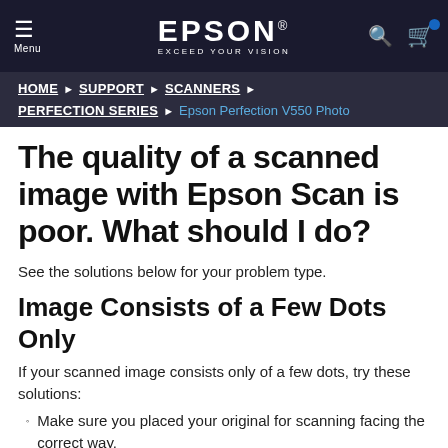EPSON EXCEED YOUR VISION
HOME ▶ SUPPORT ▶ SCANNERS ▶ PERFECTION SERIES ▶ Epson Perfection V550 Photo
The quality of a scanned image with Epson Scan is poor. What should I do?
See the solutions below for your problem type.
Image Consists of a Few Dots Only
If your scanned image consists only of a few dots, try these solutions:
Make sure you placed your original for scanning facing the correct way.